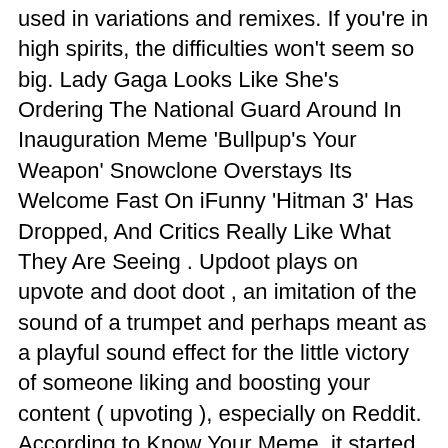used in variations and remixes. If you're in high spirits, the difficulties won't seem so big. Lady Gaga Looks Like She's Ordering The National Guard Around In Inauguration Meme 'Bullpup's Your Weapon' Snowclone Overstays Its Welcome Fast On iFunny 'Hitman 3' Has Dropped, And Critics Really Like What They Are Seeing . Updoot plays on upvote and doot doot , an imitation of the sound of a trumpet and perhaps meant as a playful sound effect for the little victory of someone liking and boosting your content ( upvoting ), especially on Reddit. According to Know Your Meme, it started blowing up across internet discussion forums in as early as 1998 and into the early 2000s. When a meme gets popular, or has a resurgence, it says something about what's on people's minds. It was also revealed he had an artistic career making paintings, including some of the arrest. [2], The raw footage was missing Reason's voice-over explaining who the man was, or what the incident was about, and Internet speculation attempted to resolve the mystery. Whether weâre talking about movie theaters, live music, or the career achievements of Ellen DeGeneres,